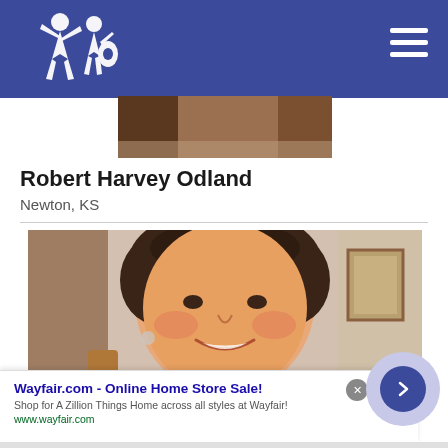Navigation header with logo and hamburger menu
[Figure (photo): Partial cropped photo at top of page showing a person, cut off at the top]
Robert Harvey Odland
Newton, KS
[Figure (photo): Portrait photo of an older woman with dark curly hair, smiling, in an indoor setting]
Wayfair.com - Online Home Store Sale!
Shop for A Zillion Things Home across all styles at Wayfair!
www.wayfair.com